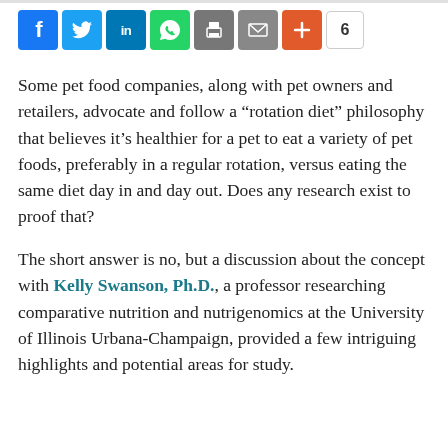[Figure (other): Social sharing bar with icons for Facebook, Twitter, LinkedIn, WhatsApp, Print, Email, and a plus/more button, followed by a share count of 6]
Some pet food companies, along with pet owners and retailers, advocate and follow a “rotation diet” philosophy that believes it’s healthier for a pet to eat a variety of pet foods, preferably in a regular rotation, versus eating the same diet day in and day out. Does any research exist to proof that?
The short answer is no, but a discussion about the concept with Kelly Swanson, Ph.D., a professor researching comparative nutrition and nutrigenomics at the University of Illinois Urbana-Champaign, provided a few intriguing highlights and potential areas for study.